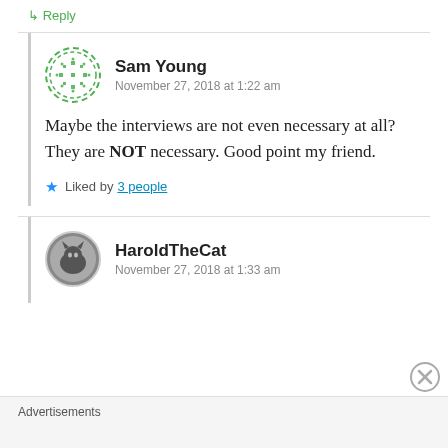↳ Reply
Sam Young
November 27, 2018 at 1:22 am
Maybe the interviews are not even necessary at all? They are NOT necessary. Good point my friend.
★ Liked by 3 people
HaroldTheCat
November 27, 2018 at 1:33 am
Advertisements